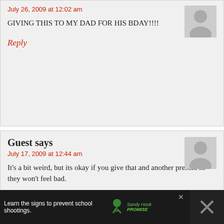GIVING THIS TO MY DAD FOR HIS BDAY!!!!
July 26, 2009 at 12:02 am
Reply
Guest says
July 17, 2009 at 12:44 am
It's a bit weird, but its okay if you give that and another present so they won't feel bad.
Reply
Guest says
July 14, 2009 at 2:43 am
LOL times a million!!!
Learn the signs to prevent school shootings. Sandy Hook PROMISE